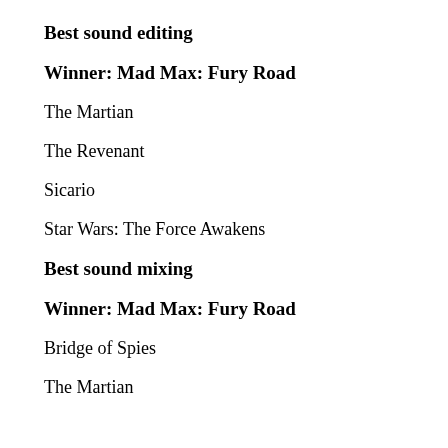Best sound editing
Winner: Mad Max: Fury Road
The Martian
The Revenant
Sicario
Star Wars: The Force Awakens
Best sound mixing
Winner: Mad Max: Fury Road
Bridge of Spies
The Martian